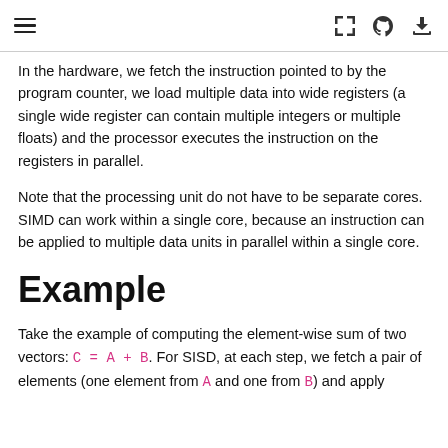≡  [expand] [github] [download]
In the hardware, we fetch the instruction pointed to by the program counter, we load multiple data into wide registers (a single wide register can contain multiple integers or multiple floats) and the processor executes the instruction on the registers in parallel.
Note that the processing unit do not have to be separate cores. SIMD can work within a single core, because an instruction can be applied to multiple data units in parallel within a single core.
Example
Take the example of computing the element-wise sum of two vectors: C = A + B. For SISD, at each step, we fetch a pair of elements (one element from A and one from B) and apply